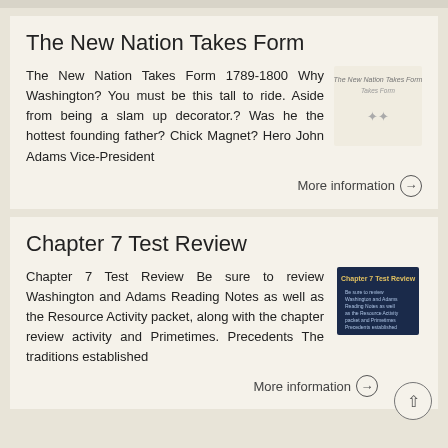The New Nation Takes Form
The New Nation Takes Form 1789-1800 Why Washington? You must be this tall to ride. Aside from being a slam up decorator.? Was he the hottest founding father? Chick Magnet? Hero John Adams Vice-President
[Figure (illustration): Thumbnail image with stylized text 'The New Nation Takes Form' and star ratings]
More information →
Chapter 7 Test Review
Chapter 7 Test Review Be sure to review Washington and Adams Reading Notes as well as the Resource Activity packet, along with the chapter review activity and Primetimes. Precedents The traditions established
[Figure (screenshot): Thumbnail image of Chapter 7 Test Review document cover with dark blue background and text]
More information →